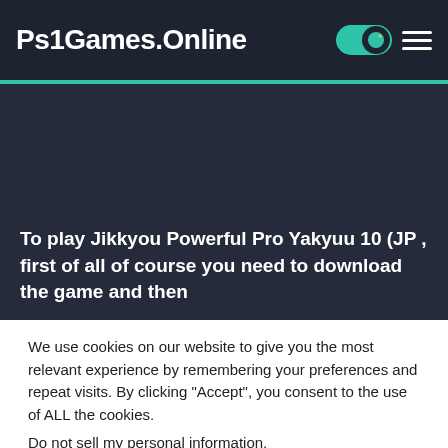Ps1Games.Online
To play Jikkyou Powerful Pro Yakyuu 10 (JP , first of all of course you need to download the game and then
We use cookies on our website to give you the most relevant experience by remembering your preferences and repeat visits. By clicking “Accept”, you consent to the use of ALL the cookies. Do not sell my personal information.
Cookie settings  ACCEPT